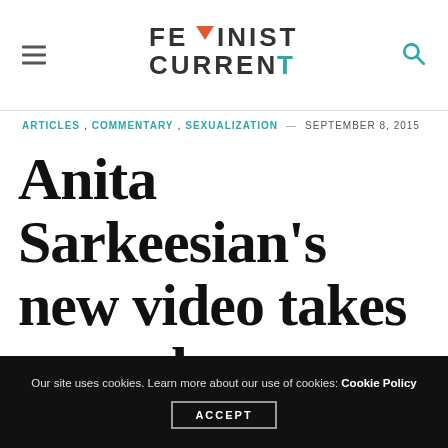FEMINIST CURRENT
ARTICLES, COMMENTARY, SEXUALIZATION — SEPTEMBER 8, 2015
Anita Sarkeesian's new video takes on male entitlement
Our site uses cookies. Learn more about our use of cookies: Cookie Policy ACCEPT